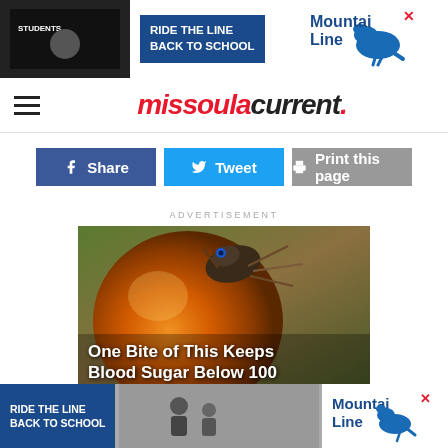[Figure (other): Mountain Line 'Ride the Line Back to School' advertisement banner at the top of the page with blue background on left and kangaroo logo on right]
missoula current.
[Figure (other): Social sharing buttons: Share (Facebook, dark blue), Tweet (Twitter, light blue), Print this page (grey)]
ADVERTISEMENT
[Figure (photo): Close-up photo of an insect or lizard on an orange/red palm fruit, with text overlay reading 'One Bite of This Keeps Blood Sugar Below 100']
[Figure (other): Mountain Line 'Ride the Line Back to School' advertisement banner at the bottom of the page]